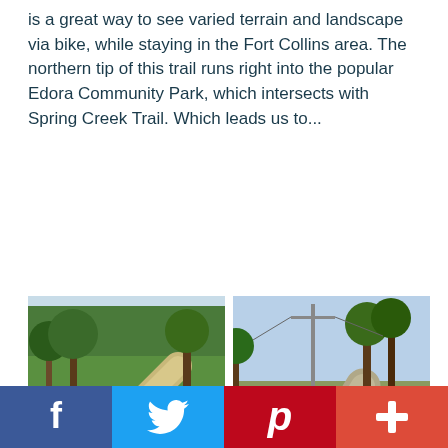is a great way to see varied terrain and landscape via bike, while staying in the Fort Collins area. The northern tip of this trail runs right into the popular Edora Community Park, which intersects with Spring Creek Trail. Which leads us to...
[Figure (photo): Two side-by-side photos of bike trails in Fort Collins: left photo shows a paved winding path through a green park with trees; right photo shows a straight paved trail alongside a fence with utility poles and trees in the background.]
[Figure (infographic): Social media share bar with four buttons: Facebook (blue), Twitter (light blue), Pinterest (red), and Google+ (orange-red).]